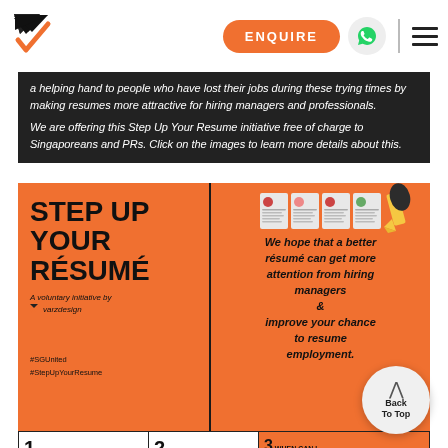[Figure (logo): Varz Design logo - checkmark/arrow shape in black and orange]
ENQUIRE | WhatsApp icon | Menu
a helping hand to people who have lost their jobs during these trying times by making resumes more attractive for hiring managers and professionals.
We are offering this Step Up Your Resume initiative free of charge to Singaporeans and PRs. Click on the images to learn more details about this.
[Figure (infographic): Step Up Your Résumé infographic on orange background. Left panel: large bold text 'STEP UP YOUR RÉSUMÉ', subtitle 'A voluntary initiative by varzdesign', hashtags #SGUnited #StepUpYourResume. Right panel: resume document icons, pencil icon, italic text 'We hope that a better résumé can get more attention from hiring managers & improve your chance to resume employment.']
[Figure (infographic): Three bottom panels: 1 WHAT WILL WE DO? - Modify your resume and make them more professional looking. 2 WHO CAN APPLY? - Singaporeans and PRs. 3 WHEN CAN I APPLY & WHEN WILL I GET THE RÉSUMÉ? - From June to July, as early as we can. +5]
[Figure (other): Back To Top button - circular grey button with up chevron arrow and text 'Back To Top']